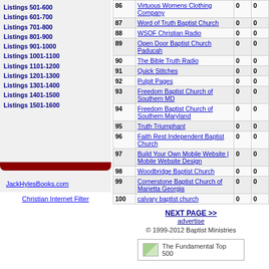Listings 501-600
Listings 601-700
Listings 701-800
Listings 801-900
Listings 901-1000
Listings 1001-1100
Listings 1101-1200
Listings 1201-1300
Listings 1301-1400
Listings 1401-1500
Listings 1501-1600
JackHylesBooks.com
Christian Internet Filter
| # | Name | 0 | 0 |
| --- | --- | --- | --- |
| 86 | Virtuous Womens Clothing Company | 0 | 0 |
| 87 | Word of Truth Baptist Church | 0 | 0 |
| 88 | WSOF Christian Radio | 0 | 0 |
| 89 | Open Door Baptist Church Paducah | 0 | 0 |
| 90 | The Bible Truth Radio | 0 | 0 |
| 91 | Quick Stitches | 0 | 0 |
| 92 | Pulpit Pages | 0 | 0 |
| 93 | Freedom Baptist Church of Southern MD | 0 | 0 |
| 94 | Freedom Baptist Church of Southern Maryland | 0 | 0 |
| 95 | Truth Triumphant | 0 | 0 |
| 96 | Faith Rest Independent Baptist Church | 0 | 0 |
| 97 | Build Your Own Mobile Website | Mobile Website Design | 0 | 0 |
| 98 | Woodbridge Baptist Church | 0 | 0 |
| 99 | Cornerstone Baptist Church of Marietta Georgia | 0 | 0 |
| 100 | calvary baptist church | 0 | 0 |
NEXT PAGE >>
advertise
© 1999-2012 Baptist Ministries
[Figure (other): The Fundamental Top 500 badge/logo with small image icon]